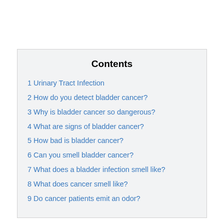Contents
1 Urinary Tract Infection
2 How do you detect bladder cancer?
3 Why is bladder cancer so dangerous?
4 What are signs of bladder cancer?
5 How bad is bladder cancer?
6 Can you smell bladder cancer?
7 What does a bladder infection smell like?
8 What does cancer smell like?
9 Do cancer patients emit an odor?